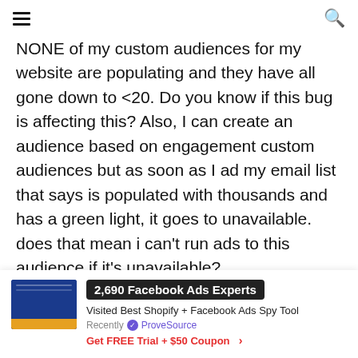≡  🔍
NONE of my custom audiences for my website are populating and they have all gone down to <20. Do you know if this bug is affecting this? Also, I can create an audience based on engagement custom audiences but as soon as I ad my email list that says is populated with thousands and has a green light, it goes to unavailable. does that mean i can't run ads to this audience if it's unavailable?
DAVID
[Figure (infographic): Ad notification widget: thumbnail image of a blue screen with orange bar, bold badge reading '2,690 Facebook Ads Experts', subtitle 'Visited Best Shopify + Facebook Ads Spy Tool', source line 'Recently ✓ ProveSource', CTA 'Get FREE Trial + $50 Coupon >']